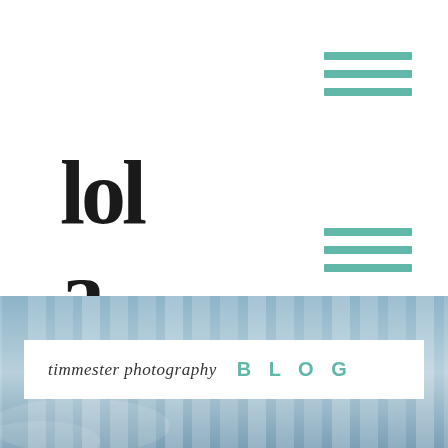[Figure (logo): Stylized text logo showing 'lol' and 'a' in large bold black serif font on white background, with teal hamburger menu icons on the right]
[Figure (photo): Photography blog banner image showing vertical glass or architectural panels with sky reflection in blue-grey tones, with overlaid white box containing the blog title]
timmester photography  BLOG